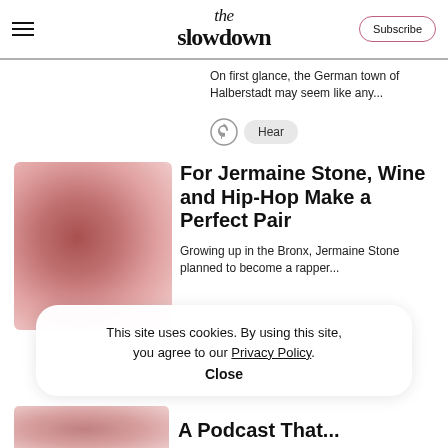the slowdown — Subscribe
On first glance, the German town of Halberstadt may seem like any...
Hear
For Jermaine Stone, Wine and Hip-Hop Make a Perfect Pair
Growing up in the Bronx, Jermaine Stone planned to become a rapper...
This site uses cookies. By using this site, you agree to our Privacy Policy.
Close
A Podcast That...